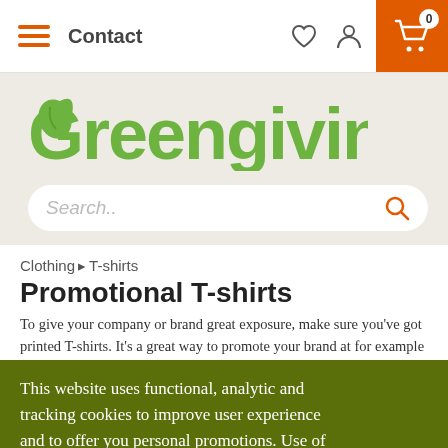Contact
[Figure (logo): Greengiving logo in green with leaf icon]
Search..
Clothing › T-shirts
Promotional T-shirts
To give your company or brand great exposure, make sure you've got printed T-shirts. It's a great way to promote your brand at for example
This website uses functional, analytic and tracking cookies to improve user experience and to offer you personal promotions. Use of this website constitutes acceptance of our Privacy and Cookie policy. For more information, have a look at our Privacy Policy.